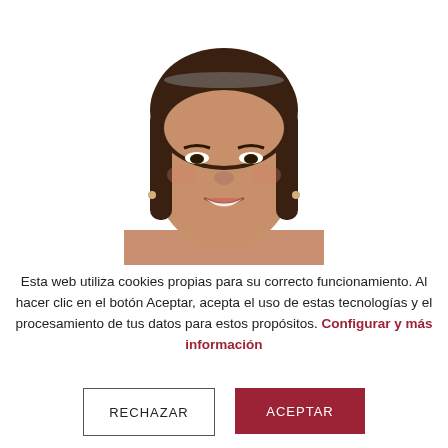[Figure (photo): Headshot photo of a woman with straight dark hair, smiling, against a white background]
Esta web utiliza cookies propias para su correcto funcionamiento. Al hacer clic en el botón Aceptar, acepta el uso de estas tecnologías y el procesamiento de tus datos para estos propósitos. Configurar y más información
RECHAZAR
ACEPTAR